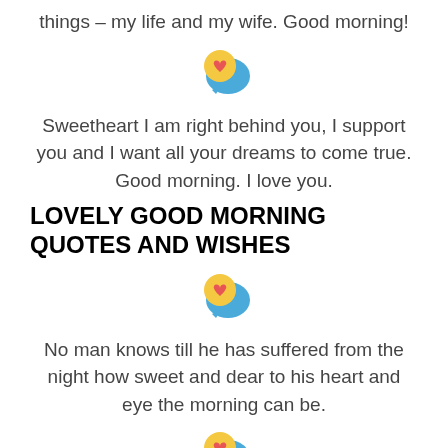things – my life and my wife. Good morning!
[Figure (illustration): Chat bubble emoji with heart]
Sweetheart I am right behind you, I support you and I want all your dreams to come true. Good morning. I love you.
LOVELY GOOD MORNING QUOTES AND WISHES
[Figure (illustration): Chat bubble emoji with heart]
No man knows till he has suffered from the night how sweet and dear to his heart and eye the morning can be.
[Figure (illustration): Chat bubble emoji with heart]
Life is never perfect. It is full of twists and turns which throw up challenges and problems. But it is